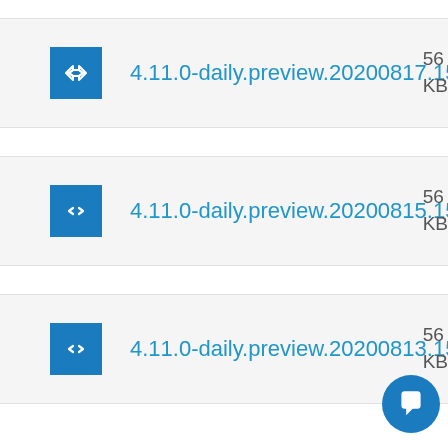4.11.0-daily.preview.20200817.157662
4.11.0-daily.preview.20200815.157413
4.11.0-daily.preview.20200813.15671...